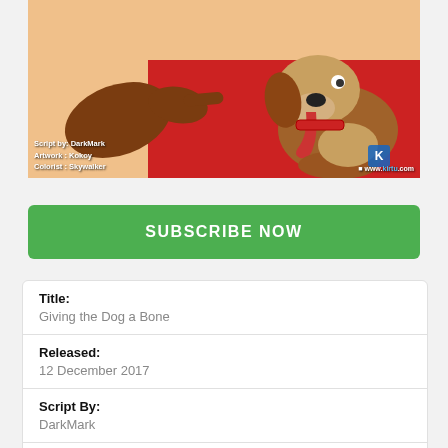[Figure (illustration): Comic/cartoon illustration showing animated characters including a dog with tongue out, against a red background. Credits shown: Script by: DarkMark, Artwork: Kokoy, Colorist: Skywalker. Watermark: www.kirtu.com]
SUBSCRIBE NOW
| Title: | Giving the Dog a Bone |
| Released: | 12 December 2017 |
| Script By: | DarkMark |